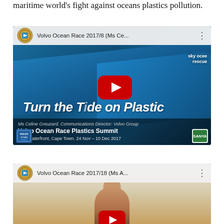maritime world's fight against oceans plastics pollution.
[Figure (screenshot): YouTube video thumbnail for 'Volvo Ocean Race 2017/8 (Ms Ce...' showing a racing yacht with 'Turn the Tide on Plastic' written on the hull. Overlay text: Ms Celine Greuzard, Communications Director: Volvo Group. Volvo Ocean Race Plastics Summit. V&A Waterfront, Cape Town. 24 Nov - 10 Dec 2017. Red YouTube play button in center.]
[Figure (screenshot): YouTube video thumbnail for 'Volvo Ocean Race 2017/18 (Ms A...' showing a person (partial view from shoulders up) against a blurred background. Red YouTube play button partially visible at bottom.]